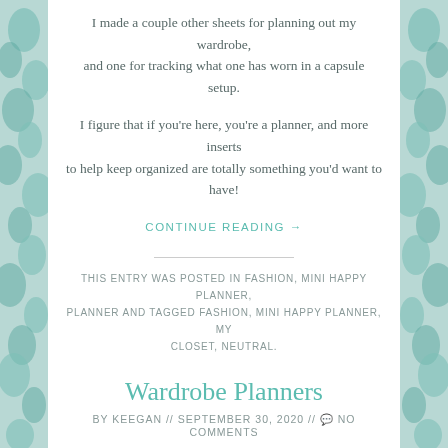I made a couple other sheets for planning out my wardrobe, and one for tracking what one has worn in a capsule setup.
I figure that if you're here, you're a planner, and more inserts to help keep organized are totally something you'd want to have!
CONTINUE READING →
THIS ENTRY WAS POSTED IN FASHION, MINI HAPPY PLANNER, PLANNER AND TAGGED FASHION, MINI HAPPY PLANNER, MY CLOSET, NEUTRAL.
Wardrobe Planners
BY KEEGAN // SEPTEMBER 30, 2020 // 💬 NO COMMENTS
I'm a terrible clothes hoarder. Like, I have clothes from when I